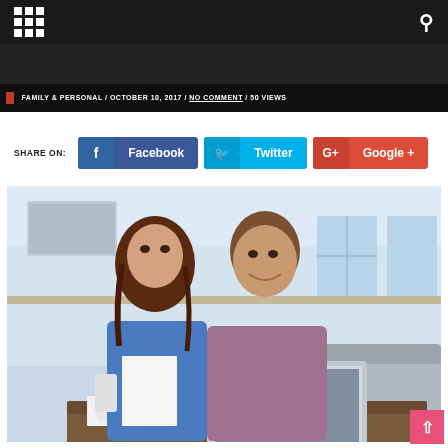Navigation bar with grid menu icon and search icon
FAMILY & PERSONAL / OCTOBER 10, 2017 / NO COMMENT / 50 VIEWS
SHARE ON: Facebook  Twitter  Google +
[Figure (photo): A couple sitting together looking at a laptop computer. The woman on the left has long brown hair, wearing a blue shirt, holding a phone and papers. The man on the right is wearing a purple/mauve shirt, smiling at the woman. They are in a modern bright living room setting.]